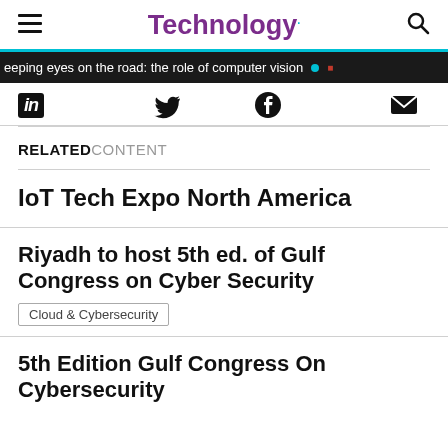Technology.
eeping eyes on the road: the role of computer vision
LinkedIn | Twitter | Facebook | Email
RELATED CONTENT
IoT Tech Expo North America
Riyadh to host 5th ed. of Gulf Congress on Cyber Security
Cloud & Cybersecurity
5th Edition Gulf Congress On Cybersecurity